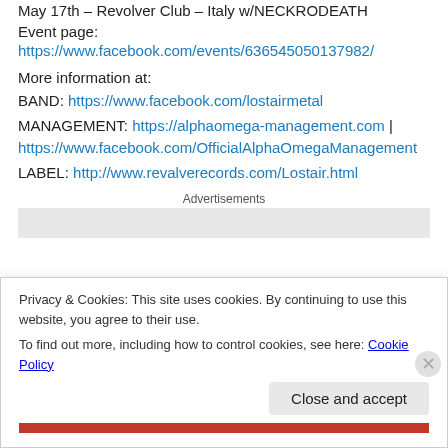May 17th – Revolver Club – Italy w/NECKRODEATH
Event page:
https://www.facebook.com/events/636545050137982/
More information at:
BAND: https://www.facebook.com/lostairmetal
MANAGEMENT: https://alphaomega-management.com | https://www.facebook.com/OfficialAlphaOmegaManagement
LABEL: http://www.revalverecords.com/Lostair.html
Advertisements
Privacy & Cookies: This site uses cookies. By continuing to use this website, you agree to their use.
To find out more, including how to control cookies, see here: Cookie Policy
Close and accept